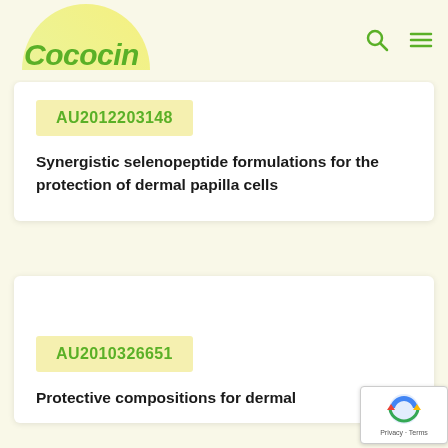Cococin — Navigation header with logo, search icon, and menu icon
AU2012203148
Synergistic selenopeptide formulations for the protection of dermal papilla cells
AU2010326651
Protective compositions for dermal